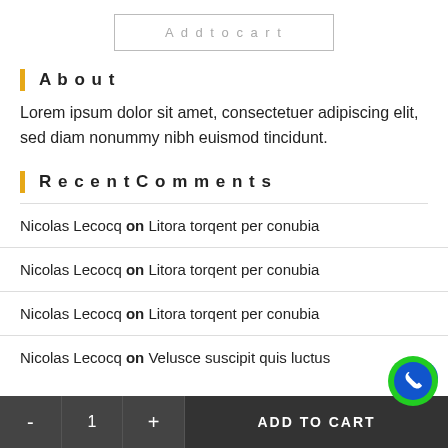Add to cart
About
Lorem ipsum dolor sit amet, consectetuer adipiscing elit, sed diam nonummy nibh euismod tincidunt.
Recent Comments
Nicolas Lecocq on Litora torqent per conubia
Nicolas Lecocq on Litora torqent per conubia
Nicolas Lecocq on Litora torqent per conubia
Nicolas Lecocq on Velusce suscipit quis luctus
- 1 + ADD TO CART